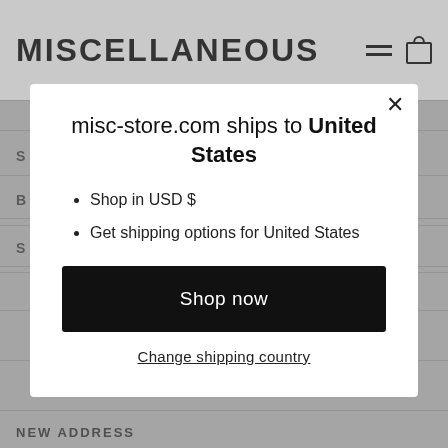MISCELLANEOUS
misc-store.com ships to United States
Shop in USD $
Get shipping options for United States
Shop now
Change shipping country
NEW ADDRESS